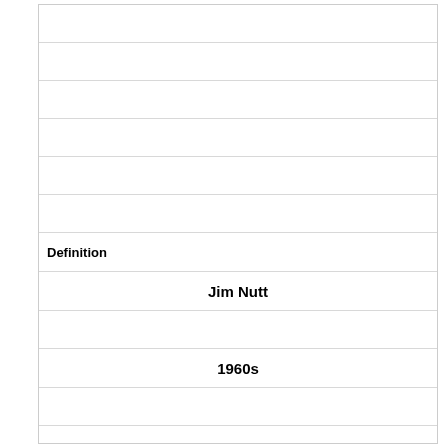Definition
Jim Nutt
1960s
Term
[image]